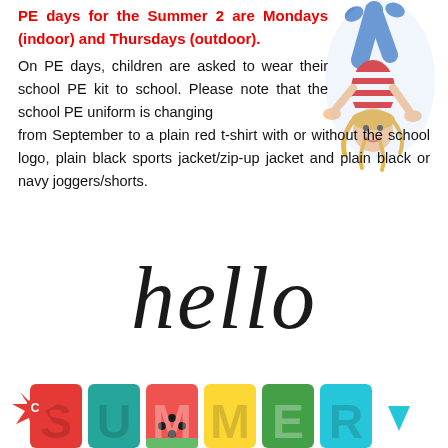PE days for the Summer 2 are Mondays (indoor) and Thursdays (outdoor).
On PE days, children are asked to wear their school PE kit to school. Please note that the school PE uniform is changing from September to a plain red t-shirt with or without the school logo, plain black sports jacket/zip-up jacket and plain black or navy joggers/shorts.
[Figure (illustration): Cartoon illustration of a child doing a handstand, wearing a striped red and white shirt with blue trousers]
[Figure (illustration): Decorative 'hello' text in cursive script above colorful summer-themed lettering spelling SUMMER at the bottom of the page, with a sun badge icon on the left]